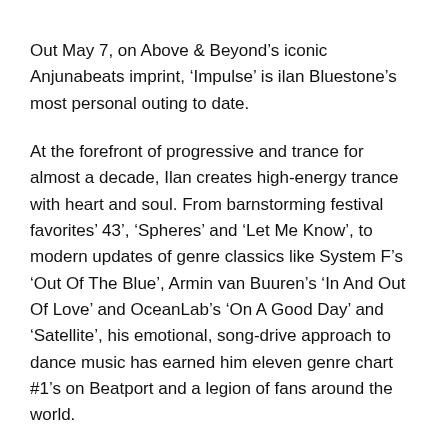Out May 7, on Above & Beyond’s iconic Anjunabeats imprint, ‘Impulse’ is ilan Bluestone’s most personal outing to date.
At the forefront of progressive and trance for almost a decade, Ilan creates high-energy trance with heart and soul. From barnstorming festival favorites’ 43’, ‘Spheres’ and ‘Let Me Know’, to modern updates of genre classics like System F’s ‘Out Of The Blue’, Armin van Buuren’s ‘In And Out Of Love’ and OceanLab’s ‘On A Good Day’ and ‘Satellite’, his emotional, song-drive approach to dance music has earned him eleven genre chart #1’s on Beatport and a legion of fans around the world.
His debut artist album, 2018’s ‘Scars’, emphatically showcased the Bluestone sound. Broadening his repertoire with a more refined, collaborative touch for his if and i album...